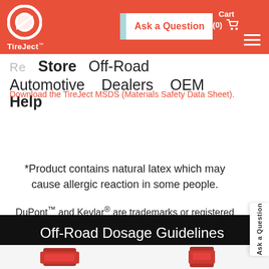TireJect - Ask a Question - Cart (0)
Store | Off-Road | Automotive | Dealers | OEM | Help
Download the TireJect MSDS (Materials Safety Data Sheet).
*Product contains natural latex which may cause allergic reaction in some people.
DuPont™ and Kevlar® are trademarks or registered trademarks of E.I. du Pont de Nemours and Company
Off-Road Dosage Guidelines (per tire)
[Figure (photo): Product images at bottom of page - two TireJect product containers shown side by side]